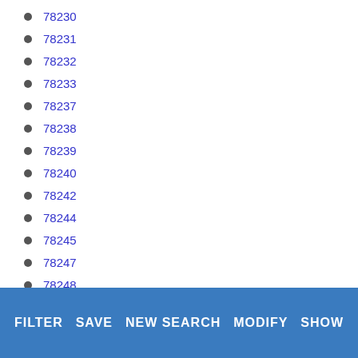78230
78231
78232
78233
78237
78238
78239
78240
78242
78244
78245
78247
78248
78249
78250
78251
78252
FILTER   SAVE   NEW SEARCH   MODIFY   SHOW